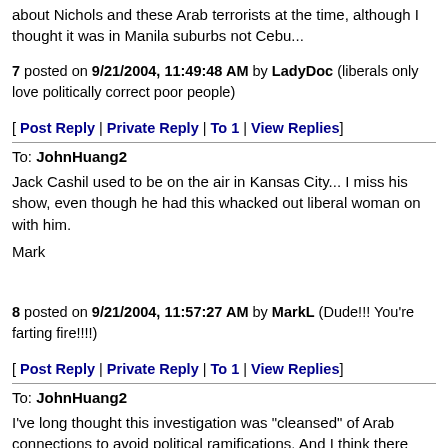about Nichols and these Arab terrorists at the time, although I thought it was in Manila suburbs not Cebu...
7 posted on 9/21/2004, 11:49:48 AM by LadyDoc (liberals only love politically correct poor people)
[ Post Reply | Private Reply | To 1 | View Replies]
To: JohnHuang2
Jack Cashil used to be on the air in Kansas City... I miss his show, even though he had this whacked out liberal woman on with him.
Mark
8 posted on 9/21/2004, 11:57:27 AM by MarkL (Dude!!! You're farting fire!!!!)
[ Post Reply | Private Reply | To 1 | View Replies]
To: JohnHuang2
I've long thought this investigation was "cleansed" of Arab connections to avoid political ramifications. And I think there was more than a truck bomb involved based on directional blast damage and sheared support pillars. Why McVeigh was never made to talk is another mystery.
I would like his last words on TV... Maybe he knew something of these...